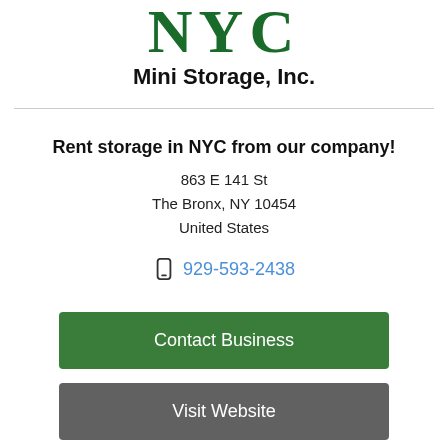[Figure (logo): NYC Mini Storage, Inc. logo with large green NYC letters and black bold subtitle text]
Rent storage in NYC from our company!
863 E 141 St
The Bronx, NY 10454
United States
929-593-2438
Contact Business
Visit Website